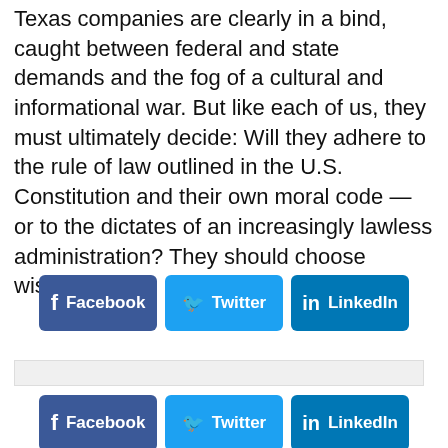Texas companies are clearly in a bind, caught between federal and state demands and the fog of a cultural and informational war. But like each of us, they must ultimately decide: Will they adhere to the rule of law outlined in the U.S. Constitution and their own moral code — or to the dictates of an increasingly lawless administration? They should choose wisely.
[Figure (other): Social share buttons row 1: Facebook, Twitter, LinkedIn]
[Figure (other): Social share buttons row 2: Facebook, Twitter, LinkedIn (partially visible)]